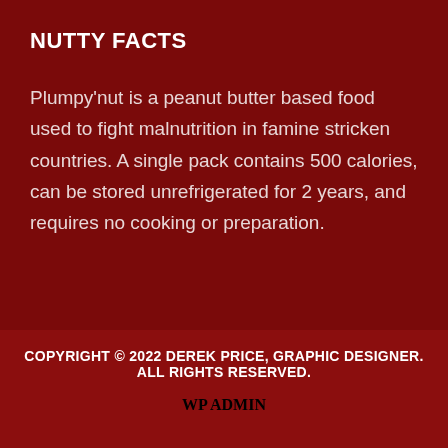NUTTY FACTS
Plumpy'nut is a peanut butter based food used to fight malnutrition in famine stricken countries. A single pack contains 500 calories, can be stored unrefrigerated for 2 years, and requires no cooking or preparation.
COPYRIGHT © 2022 DEREK PRICE, GRAPHIC DESIGNER. ALL RIGHTS RESERVED. WP ADMIN